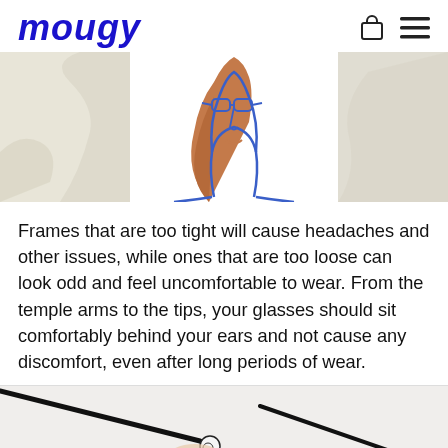mougy
[Figure (illustration): Illustration of a woman's face with blue outline and auburn hair, wearing glasses. Flanked by beige/cream decorative panels on left and right.]
Frames that are too tight will cause headaches and other issues, while ones that are too loose can look odd and feel uncomfortable to wear. From the temple arms to the tips, your glasses should sit comfortably behind your ears and not cause any discomfort, even after long periods of wear.
[Figure (photo): Photo showing a close-up of eyeglasses frames being held, with black thin metal arms visible against a light background.]